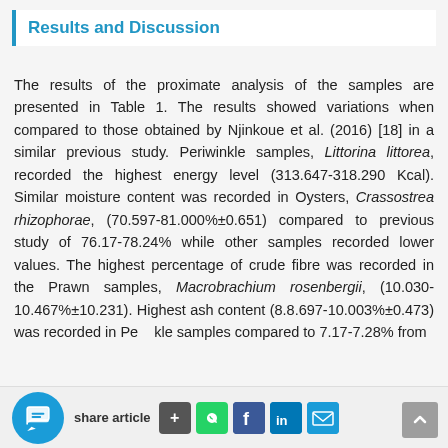Results and Discussion
The results of the proximate analysis of the samples are presented in Table 1. The results showed variations when compared to those obtained by Njinkoue et al. (2016) [18] in a similar previous study. Periwinkle samples, Littorina littorea, recorded the highest energy level (313.647-318.290 Kcal). Similar moisture content was recorded in Oysters, Crassostrea rhizophorae, (70.597-81.000%±0.651) compared to previous study of 76.17-78.24% while other samples recorded lower values. The highest percentage of crude fibre was recorded in the Prawn samples, Macrobrachium rosenbergii, (10.030-10.467%±10.231). Highest ash content (8.8.697-10.003%±0.473) was recorded in Periwinkle samples compared to 7.17-7.28% from
share article